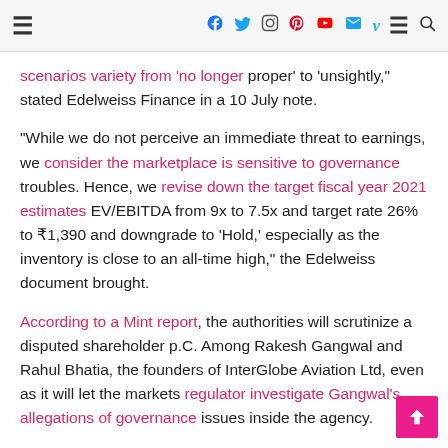Navigation bar with hamburger menu and social icons (Facebook, Twitter, Instagram, Pinterest, YouTube, Email, Vimeo, Menu, Search)
scenarios variety from 'no longer proper' to 'unsightly,' stated Edelweiss Finance in a 10 July note.
"While we do not perceive an immediate threat to earnings, we consider the marketplace is sensitive to governance troubles. Hence, we revise down the target fiscal year 2021 estimates EV/EBITDA from 9x to 7.5x and target rate 26% to ₹1,390 and downgrade to 'Hold,' especially as the inventory is close to an all-time high," the Edelweiss document brought.
According to a Mint report, the authorities will scrutinize a disputed shareholder p.C. Among Rakesh Gangwal and Rahul Bhatia, the founders of InterGlobe Aviation Ltd, even as it will let the markets regulator investigate Gangwal's allegations of governance issues inside the agency.